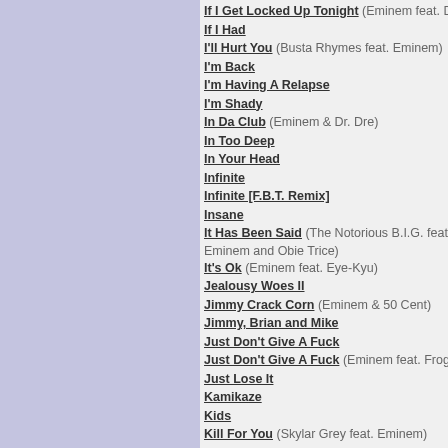If I Get Locked Up Tonight (Eminem feat. Dr. Dre)
If I Had
I'll Hurt You (Busta Rhymes feat. Eminem)
I'm Back
I'm Having A Relapse
I'm Shady
In Da Club (Eminem & Dr. Dre)
In Too Deep
In Your Head
Infinite
Infinite [F.B.T. Remix]
Insane
It Has Been Said (The Notorious B.I.G. feat. Diddy, Eminem and Obie Trice)
It's Ok (Eminem feat. Eye-Kyu)
Jealousy Woes II
Jimmy Crack Corn (Eminem & 50 Cent)
Jimmy, Brian and Mike
Just Don't Give A Fuck
Just Don't Give A Fuck (Eminem feat. Frogg)
Just Lose It
Kamikaze
Kids
Kill For You (Skylar Grey feat. Eminem)
Kill You
Killer
Killshot
Kim
Kings Never Die (Eminem feat. Gwen Stefani)
Lady (Obie Trice feat. Eminem)
Last One Standing (Skylar Grey feat. Polo G, Mozzy, Eminem)
Leaving Heaven (Eminem feat. Skylar Grey)
Legacy
Legends Never Die (Eminem, Linkin Park, Alan W & Against The Current)
Like Home (Eminem feat. Alicia Keys)